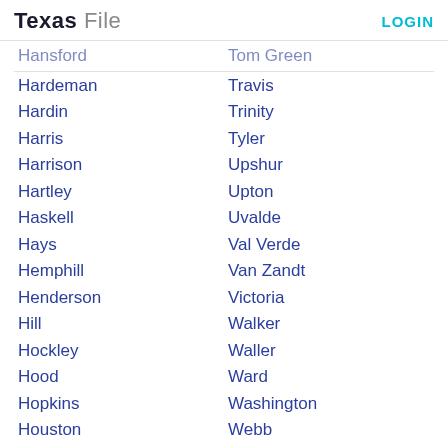Texas File | LOGIN
Hansford | Tom Green
Hardeman | Travis
Hardin | Trinity
Harris | Tyler
Harrison | Upshur
Hartley | Upton
Haskell | Uvalde
Hays | Val Verde
Hemphill | Van Zandt
Henderson | Victoria
Hill | Walker
Hockley | Waller
Hood | Ward
Hopkins | Washington
Houston | Webb
Howard | Wharton